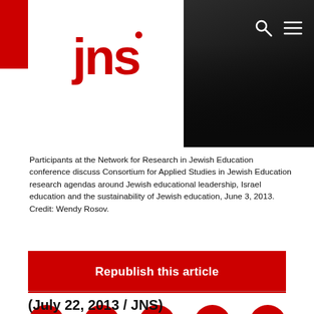[Figure (logo): JNS logo — red lowercase letters 'jns' with a red dot above the 'j', on white background, set against a red header bar]
[Figure (photo): Participants at the Network for Research in Jewish Education conference, dark background photo showing people seated]
Participants at the Network for Research in Jewish Education conference discuss Consortium for Applied Studies in Jewish Education research agendas around Jewish educational leadership, Israel education and the sustainability of Jewish education, June 3, 2013. Credit: Wendy Rosov.
Republish this article
[Figure (infographic): Row of five red circular social sharing icons: Facebook, Twitter, WhatsApp, Email, Print]
(July 22, 2013 / JNS)